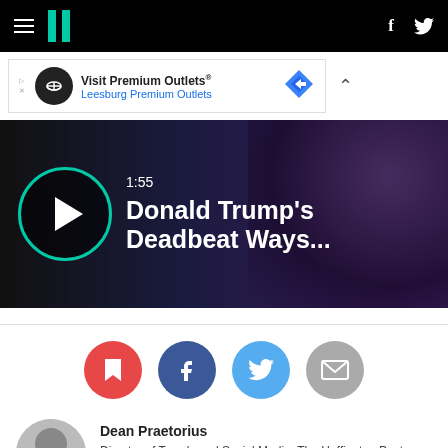HuffPost navigation with hamburger menu, logo, Facebook and Twitter icons
[Figure (screenshot): Advertisement banner: Visit Premium Outlets® Leesburg Premium Outlets with circular logo and blue diamond icon]
[Figure (screenshot): Video thumbnail with play button, timestamp 1:55, title: Donald Trump's Deadbeat Ways...]
[Figure (infographic): Social sharing buttons: bookmark (red), Facebook (blue), Twitter (light blue), email (gray)]
Dean Praetorius
Director of Trends and Social Media, The Huffington Post